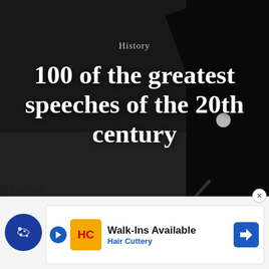[Figure (photo): Black and white photograph of a speaker (likely Martin Luther King Jr.) addressing a large crowd from a podium, with many people visible in the background holding signs.]
History
100 of the greatest speeches of the 20th century
WRITTEN BY:
Isabel Sepulveda
January 18, 2021
Agence France Presse // Getty Images
[Figure (other): Advertisement banner: Walk-Ins Available, Hair Cuttery, with cookie consent icon and navigation icon]